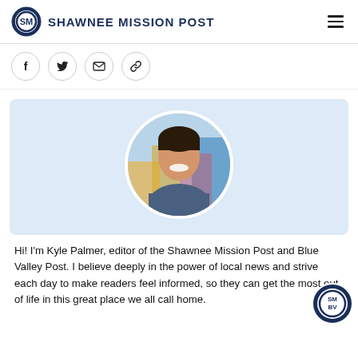SHAWNEE MISSION POST
[Figure (logo): Shawnee Mission Post logo — circular SM badge and site name]
[Figure (illustration): Social share icons: Facebook, Twitter, Email, Link]
[Figure (photo): Circular headshot photo of Kyle Palmer, smiling man in front of colorful mural background]
Hi! I'm Kyle Palmer, editor of the Shawnee Mission Post and Blue Valley Post. I believe deeply in the power of local news and strive each day to make readers feel informed, so they can get the most out of life in this great place we all call home.